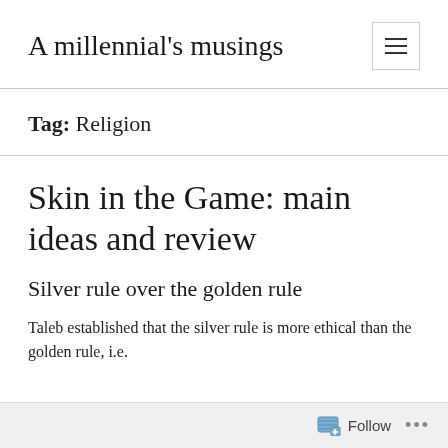A millennial's musings
Tag: Religion
Skin in the Game: main ideas and review
Silver rule over the golden rule
Taleb established that the silver rule is more ethical than the golden rule, i.e.
Follow ...